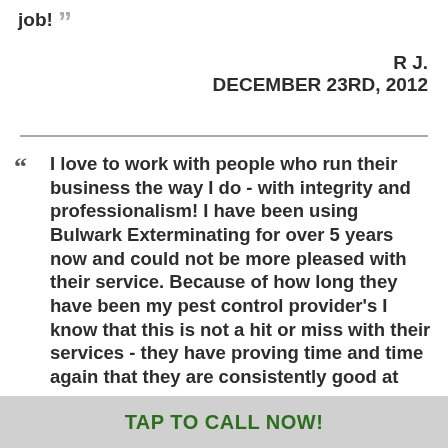job! ”
R J.
DECEMBER 23RD, 2012
“ I love to work with people who run their business the way I do - with integrity and professionalism! I have been using Bulwark Exterminating for over 5 years now and could not be more pleased with their service. Because of how long they have been my pest control provider’s I know that this is not a hit or miss with their services - they have proving time and time again that they are consistently good at what they do, and if they need to come back out to treat an area that may be needing more attention, they do it free of charge to you! Bulwark knows how
TAP TO CALL NOW!